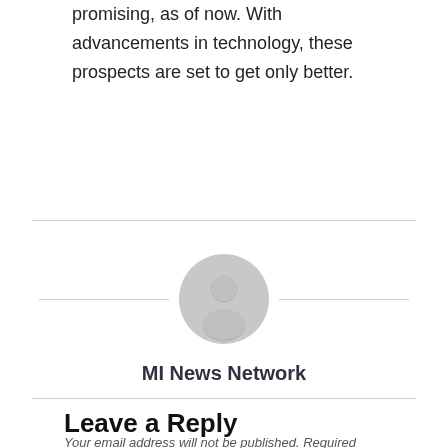promising, as of now. With advancements in technology, these prospects are set to get only better.
[Figure (illustration): Generic user avatar icon — gray circular silhouette with head and shoulders shape, centered on the page with horizontal rules on either side.]
MI News Network
Leave a Reply
Your email address will not be published. Required fields are